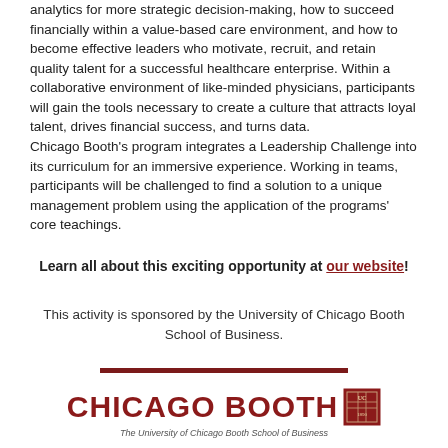analytics for more strategic decision-making, how to succeed financially within a value-based care environment, and how to become effective leaders who motivate, recruit, and retain quality talent for a successful healthcare enterprise. Within a collaborative environment of like-minded physicians, participants will gain the tools necessary to create a culture that attracts loyal talent, drives financial success, and turns data. Chicago Booth's program integrates a Leadership Challenge into its curriculum for an immersive experience. Working in teams, participants will be challenged to find a solution to a unique management problem using the application of the programs' core teachings.
Learn all about this exciting opportunity at our website!
This activity is sponsored by the University of Chicago Booth School of Business.
[Figure (logo): Chicago Booth logo — The University of Chicago Booth School of Business wordmark with shield emblem]